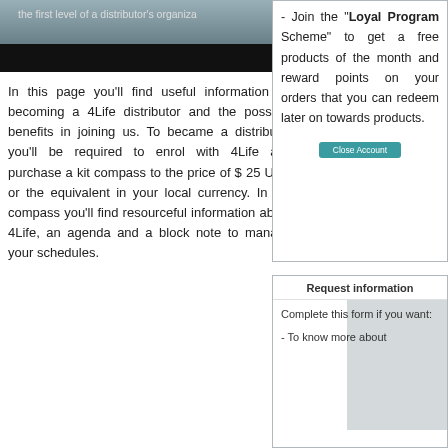[Figure (photo): Top banner image showing partial text 'the first level of a distributor's organiza' with dark/gray gradient background]
In this page you'll find useful information on becoming a 4Life distributor and the possible benefits in joining us. To became a distributor you'll be required to enrol with 4Life and purchase a kit compass to the price of $ 25 USD or the equivalent in your local currency. In the compass you'll find resourceful information about 4Life, an agenda and a block note to manage your schedules.
- Join the "Loyal Program Scheme" to get a free products of the month and reward points on your orders that you can redeem later on towards products.
Request information
Complete this form if you want:
- To know more about